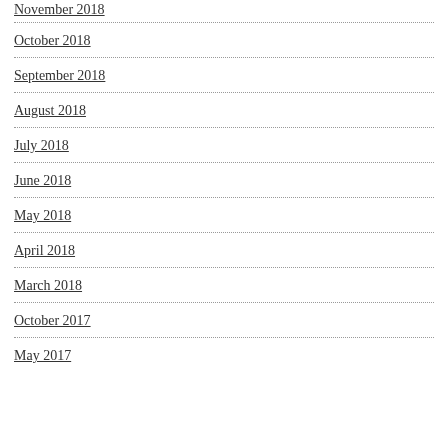November 2018
October 2018
September 2018
August 2018
July 2018
June 2018
May 2018
April 2018
March 2018
October 2017
May 2017